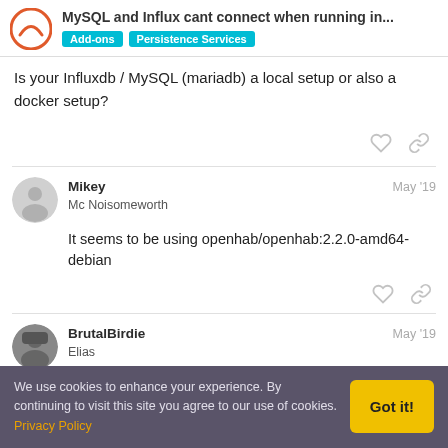MySQL and Influx cant connect when running in... | Add-ons | Persistence Services
Is your Influxdb / MySQL (mariadb) a local setup or also a docker setup?
Mikey
Mc Noisomeworth
May '19
It seems to be using openhab/openhab:2.2.0-amd64-debian
BrutalBirdie
Elias
May '19
We use cookies to enhance your experience. By continuing to visit this site you agree to our use of cookies. Privacy Policy